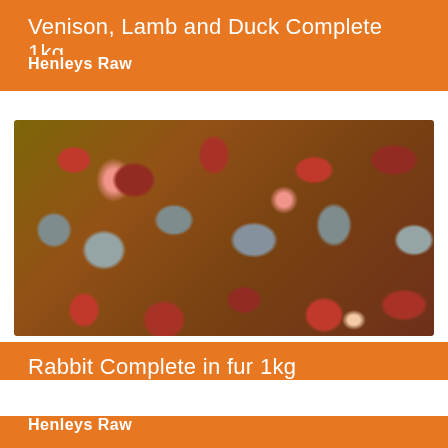Venison, Lamb and Duck Complete 1kg
Henleys Raw
[Figure (photo): Raw meat product showing a pile of raw rabbit pieces with fur, mixed dark grey fur and red/pink raw meat visible, packed tightly together in a tray.]
Rabbit Complete in fur 1kg
Henleys Raw